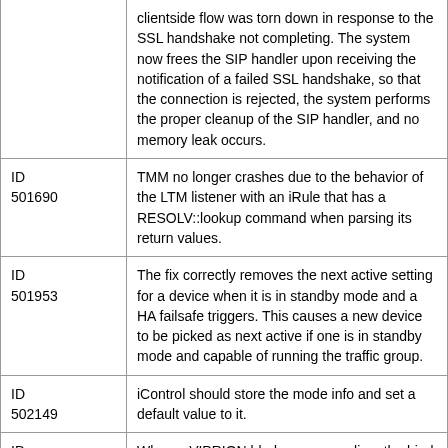| ID | Description |
| --- | --- |
|  | clientside flow was torn down in response to the SSL handshake not completing. The system now frees the SIP handler upon receiving the notification of a failed SSL handshake, so that the connection is rejected, the system performs the proper cleanup of the SIP handler, and no memory leak occurs. |
| ID 501690 | TMM no longer crashes due to the behavior of the LTM listener with an iRule that has a RESOLV::lookup command when parsing its return values. |
| ID 501953 | The fix correctly removes the next active setting for a device when it is in standby mode and a HA failsafe triggers. This causes a new device to be picked as next active if one is in standby mode and capable of running the traffic group. |
| ID 502149 | iControl should store the mode info and set a default value to it. |
| ID 502443 | When a VIPRION blade comes on-line, the bigd process on the blade no longer starts health monitors prematurely, which could have caused some monitored objects to be marked down incorrectly. |